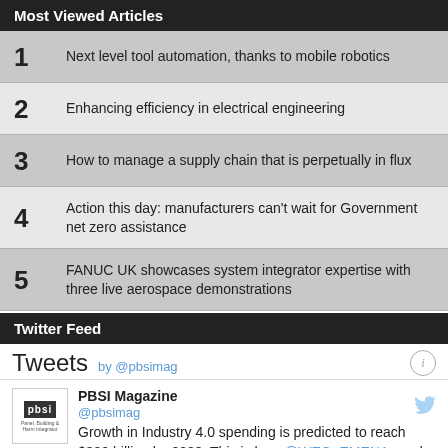Most Viewed Articles
1 Next level tool automation, thanks to mobile robotics
2 Enhancing efficiency in electrical engineering
3 How to manage a supply chain that is perpetually in flux
4 Action this day: manufacturers can't wait for Government net zero assistance
5 FANUC UK showcases system integrator expertise with three live aerospace demonstrations
Twitter Feed
Tweets by @pbsimag
PBSI Magazine @pbsimag Growth in Industry 4.0 spending is predicted to reach $300 billion by 2023. This is how @WEG_EMENA used digital